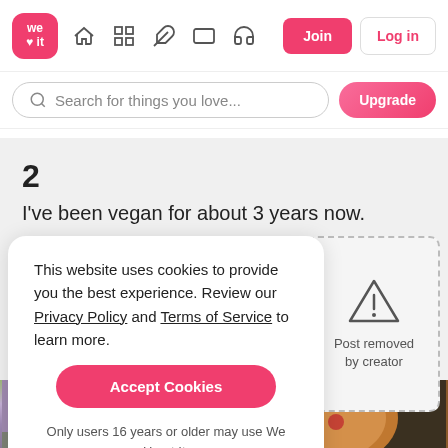[Figure (screenshot): We Heart It navigation bar with logo, home, grid, pen, rectangle, headphone icons, Join and Log in buttons]
Search for things you love...
Upgrade
2
I've been vegan for about 3 years now.
This website uses cookies to provide you the best experience. Review our Privacy Policy and Terms of Service to learn more.
Accept Cookies
Only users 16 years or older may use We Heart It.
Post removed by creator
[Figure (photo): Two golden retrievers near pink flowers and water]
[Figure (photo): Pizza on a grill]